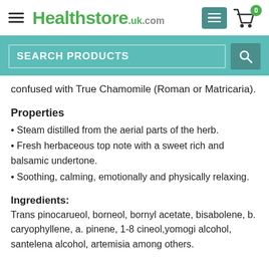Healthstore.uk.com
confused with True Chamomile (Roman or Matricaria).
Properties
Steam distilled from the aerial parts of the herb.
Fresh herbaceous top note with a sweet rich and balsamic undertone.
Soothing, calming, emotionally and physically relaxing.
Ingredients:
Trans pinocarueol, borneol, bornyl acetate, bisabolene, b. caryophyllene, a. pinene, 1-8 cineol,yomogi alcohol, santelena alcohol, artemisia among others.